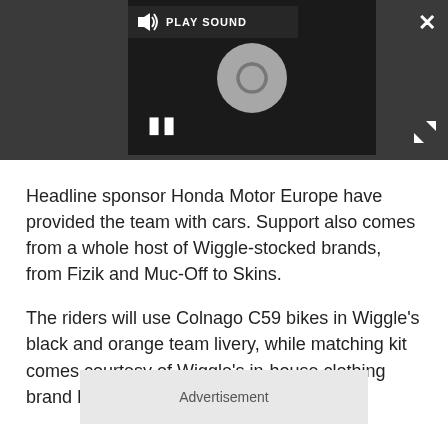[Figure (screenshot): Video player UI with dark background, loading spinner circle, pause button, play sound bar, close X button, and expand arrows.]
Headline sponsor Honda Motor Europe have provided the team with cars. Support also comes from a whole host of Wiggle-stocked brands, from Fizik and Muc-Off to Skins.
The riders will use Colnago C59 bikes in Wiggle's black and orange team livery, while matching kit comes courtesy of Wiggle's in-house clothing brand DHB.
Advertisement